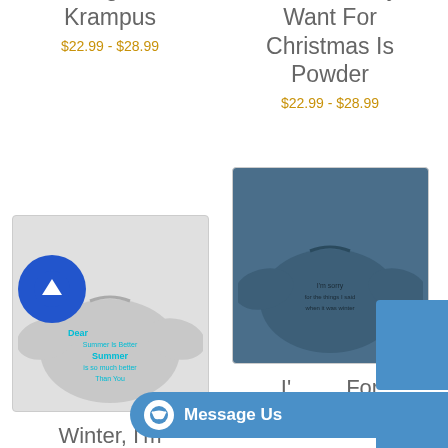Greetings From Krampus
$22.99 - $28.99
All We Really Want For Christmas Is Powder
$22.99 - $28.99
[Figure (photo): Grey sweatshirt with 'Dear Summer' text in cyan/teal]
Winter, I'm Breaking Up
[Figure (photo): Dark blue/indigo sweatshirt with text graphic]
I'_ _ _ For The Things _
Message Us